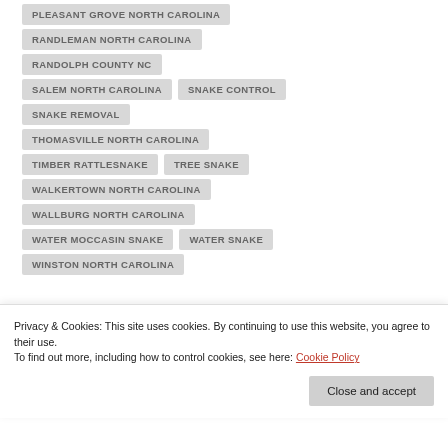PLEASANT GROVE NORTH CAROLINA
RANDLEMAN NORTH CAROLINA
RANDOLPH COUNTY NC
SALEM NORTH CAROLINA
SNAKE CONTROL
SNAKE REMOVAL
THOMASVILLE NORTH CAROLINA
TIMBER RATTLESNAKE
TREE SNAKE
WALKERTOWN NORTH CAROLINA
WALLBURG NORTH CAROLINA
WATER MOCCASIN SNAKE
WATER SNAKE
WINSTON NORTH CAROLINA
Privacy & Cookies: This site uses cookies. By continuing to use this website, you agree to their use.
To find out more, including how to control cookies, see here: Cookie Policy
Close and accept